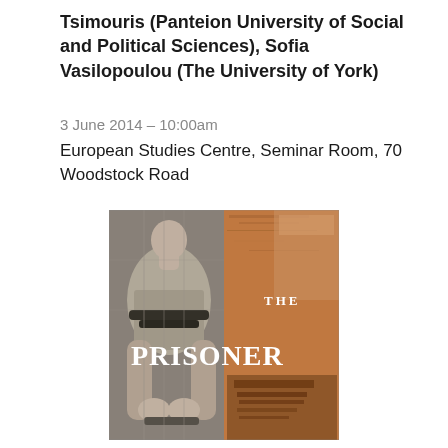Tsimouris (Panteion University of Social and Political Sciences), Sofia Vasilopoulou (The University of York)
3 June 2014 – 10:00am
European Studies Centre, Seminar Room, 70 Woodstock Road
[Figure (photo): Book cover titled 'THE PRISONER' showing a figure from behind with hands bound, set against a textured rusty/aged background. The word PRISONER is displayed prominently in large white serif text.]